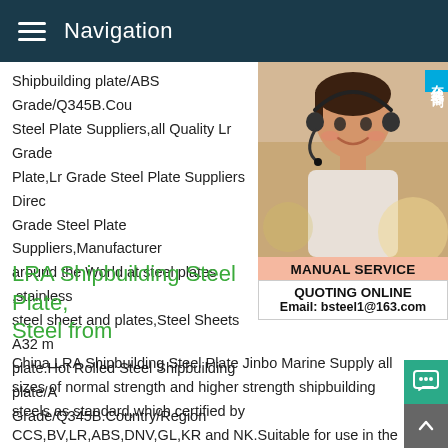Navigation
Shipbuilding plate/ABS Grade/Q345B.Country/Region Steel Plate Suppliers,all Quality Lr Grade Steel Plate,Lr Grade Steel Plate Suppliers Direct Grade Steel Plate Suppliers,Manufacturers around the World at steel plates ,stainless steel sheet and plates,Steel Sheets A32 marine plate.Hot Rolled Steel Shipbuilding plate/ABS Grade/Q345B.Country/Region
[Figure (photo): Customer service representative wearing headset, with Chinese text badge '在线咨询' (Online Consultation), MANUAL SERVICE label, QUOTING ONLINE text, and Email: bsteel1@163.com]
LRA Shipbuilding Steel Plate, Steel from
China LRA Shipbuilding Steel Plate Jinbo Marine Supply all sizes of normal strength and higher strength shipbuilding steels as standard,which certified by CCS,BV,LR,ABS,DNV,GL,KR and NK.Suitable for use in the construction of container ships and cargo freighters and commercial shipping lines such as luxury